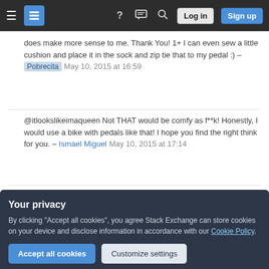Stack Exchange navigation bar with hamburger menu, logo, help, chat, search icons, Log in and Sign up buttons
does make more sense to me. Thank You! 1+ I can even sew a little cushion and place it in the sock and zip tie that to my pedal :) – Pobrecita May 10, 2015 at 16:59
@itlookslikeimaqueen Not THAT would be comfy as f**k! Honestly, I would use a bike with pedals like that! I hope you find the right think for you. – Ismael Miguel May 10, 2015 at 17:14
Thank you! I plan on coming up with some sort of homemade gel pad, that your foot can just slide into. I have a idea of that you go :) – Pobrecita May 10, 2015 at 17:16
Your privacy
By clicking "Accept all cookies", you agree Stack Exchange can store cookies on your device and disclose information in accordance with our Cookie Policy.
Accept all cookies   Customize settings
wrapping the pedals with Velcro tape which is